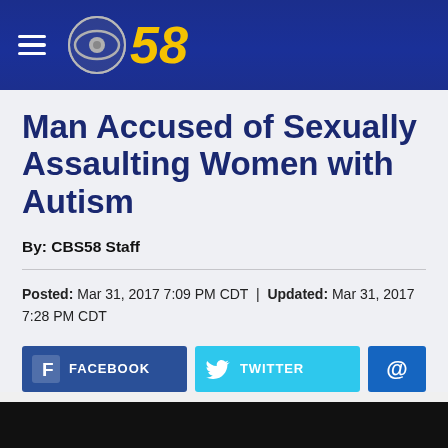CBS 58 navigation header
Man Accused of Sexually Assaulting Women with Autism
By: CBS58 Staff
Posted: Mar 31, 2017 7:09 PM CDT | Updated: Mar 31, 2017 7:28 PM CDT
[Figure (screenshot): Social sharing buttons: Facebook, Twitter, and email (@)]
[Figure (photo): Black image/video thumbnail at bottom of page]